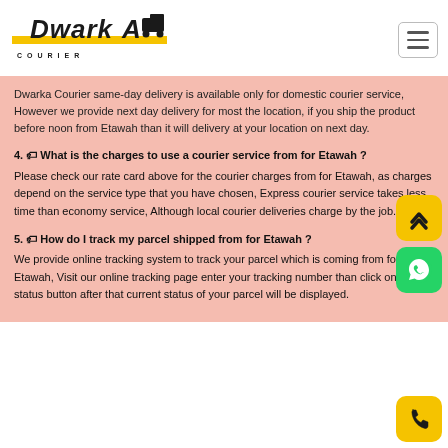[Figure (logo): Dwarka Courier logo with stylized text and truck icon, yellow stripe underneath, and COURIER text below]
Dwarka Courier same-day delivery is available only for domestic courier service, However we provide next day delivery for most the location, if you ship the product before noon from Etawah than it will delivery at your location on next day.
4. 🏷 What is the charges to use a courier service from for Etawah ? Please check our rate card above for the courier charges from for Etawah, as charges depend on the service type that you have chosen, Express courier service takes less time than economy service, Although local courier deliveries charge by the job.
5. 🏷 How do I track my parcel shipped from for Etawah ? We provide online tracking system to track your parcel which is coming from for Etawah, Visit our online tracking page enter your tracking number than click on the status button after that current status of your parcel will be displayed.